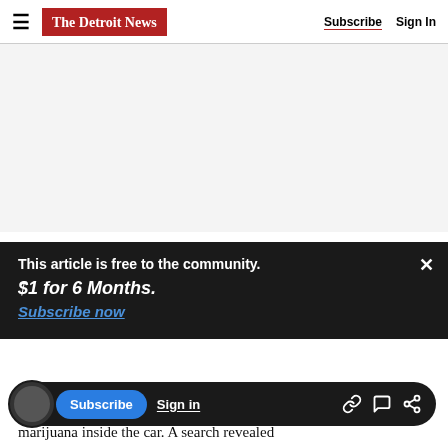The Detroit News | Subscribe | Sign In
[Figure (other): Advertisement placeholder area (light gray background)]
The driver was slow to stop the vehicle and struck
This article is free to the community. $1 for 6 Months. Subscribe now
marijuana inside the car. A search revealed